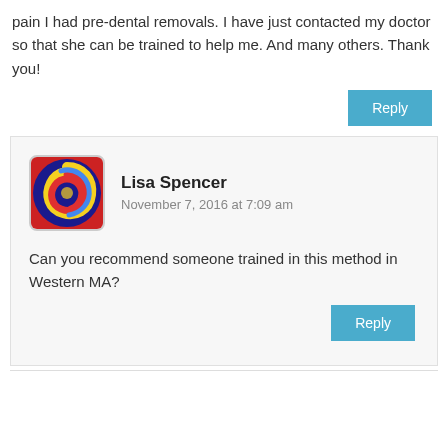pain I had pre-dental removals. I have just contacted my doctor so that she can be trained to help me. And many others. Thank you!
Reply
Lisa Spencer
November 7, 2016 at 7:09 am
Can you recommend someone trained in this method in Western MA?
Reply